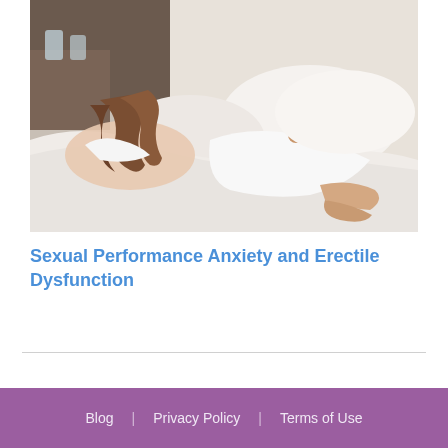[Figure (photo): A couple lying in bed back-to-back, appearing distant. A man in a white t-shirt lies facing the camera looking troubled, while a woman with long hair lies with her back to him. White bedding and pillows visible, with a bedside table and glasses of water in the background.]
Sexual Performance Anxiety and Erectile Dysfunction
Blog | Privacy Policy | Terms of Use